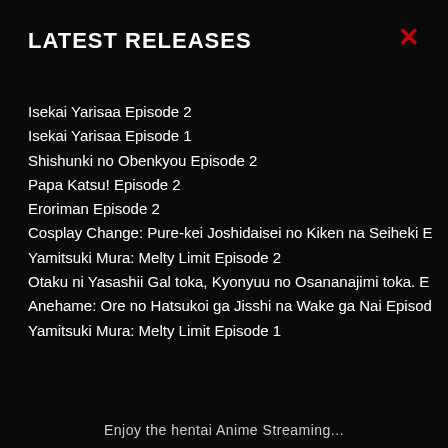LATEST RELEASES
Isekai Yarisaa Episode 2
Isekai Yarisaa Episode 1
Shishunki no Obenkyou Episode 2
Papa Katsu! Episode 2
Eroriman Episode 2
Cosplay Change: Pure-kei Joshidaisei no Kiken na Seiheki E
Yamitsuki Mura: Melty Limit Episode 2
Otaku ni Yasashii Gal toka, Kyonyuu no Osananajimi toka. E
Anehame: Ore no Hatsukoi ga Jisshi na Wake ga Nai Episod
Yamitsuki Mura: Melty Limit Episode 1
Enjoy the hentai Anime Streaming...